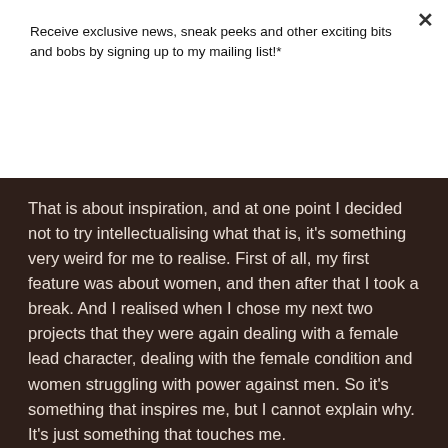Receive exclusive news, sneak peeks and other exciting bits and bobs by signing up to my mailing list!*
Subscribe
That is about inspiration, and at one point I decided not to try intellectualising what that is, it's something very weird for me to realise. First of all, my first feature was about women, and then after that I took a break. And I realised when I chose my next two projects that they were again dealing with a female lead character, dealing with the female condition and women struggling with power against men. So it's something that inspires me, but I cannot explain why. It's just something that touches me.